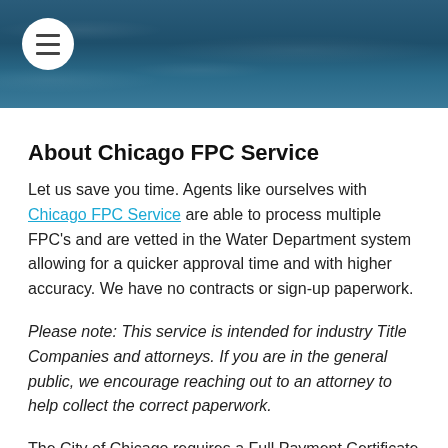[Figure (photo): Dark teal/blue water texture banner header with menu hamburger icon button (white circle with three horizontal lines) in top left]
About Chicago FPC Service
Let us save you time. Agents like ourselves with Chicago FPC Service are able to process multiple FPC's and are vetted in the Water Department system allowing for a quicker approval time and with higher accuracy. We have no contracts or sign-up paperwork.
Please note: This service is intended for industry Title Companies and attorneys. If you are in the general public, we encourage reaching out to an attorney to help collect the correct paperwork.
The City of Chicago requires a Full Payment Certificate (FPC) for all transfers of real estate. An FPC is a Chicago